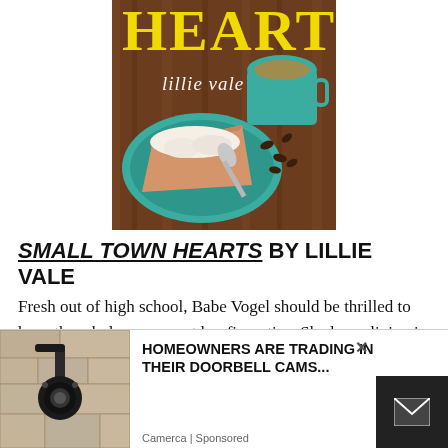[Figure (photo): Book cover for 'Small Town Hearts' by Lillie Vale. Shows the title 'HEARTS' in large yellow serif letters, author name 'lillie vale' in script, with a teal plate holding a slice of cream pie with a spoon, a teal coffee mug, and coffee beans scattered on a dark wooden table background.]
SMALL TOWN HEARTS by LILLIE VALE
Fresh out of high school, Babe Vogel should be thrilled to have the whole summer at her fingertips. She loves living in her lighthouse home in the sleepy Maine beach town of Oar's Rest and being a barista …eaking out about
[Figure (photo): Advertisement overlay: Left side shows a photo of a wall-mounted light fixture/security camera on a stone wall. Center shows bold text 'HOMEOWNERS ARE TRADING IN THEIR DOORBELL CAMS...' with source 'Camerca | Sponsored'. Right side shows a dark box with an email envelope icon. A close/X button appears top right of the ad.]